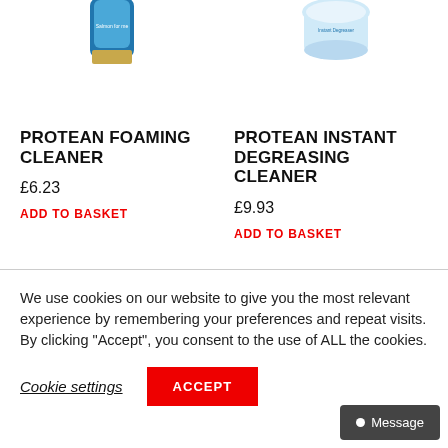[Figure (photo): Partial product image of Protean Foaming Cleaner can (top cropped)]
[Figure (photo): Partial product image of Protean Instant Degreasing Cleaner container (top cropped)]
PROTEAN FOAMING CLEANER
PROTEAN INSTANT DEGREASING CLEANER
£6.23
£9.93
ADD TO BASKET
ADD TO BASKET
We use cookies on our website to give you the most relevant experience by remembering your preferences and repeat visits. By clicking “Accept”, you consent to the use of ALL the cookies.
Cookie settings
ACCEPT
Message